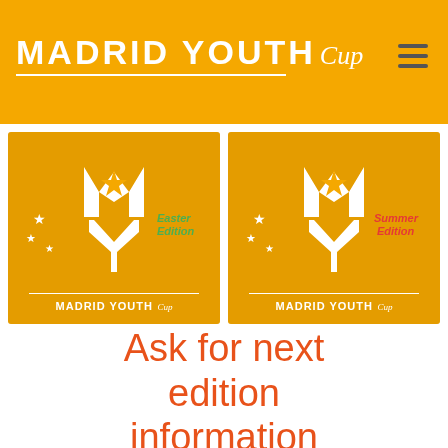MADRID YOUTH Cup
[Figure (logo): Madrid Youth Cup Easter Edition logo on orange background with MY emblem and stars]
[Figure (logo): Madrid Youth Cup Summer Edition logo on orange background with MY emblem and stars]
Ask for next edition information